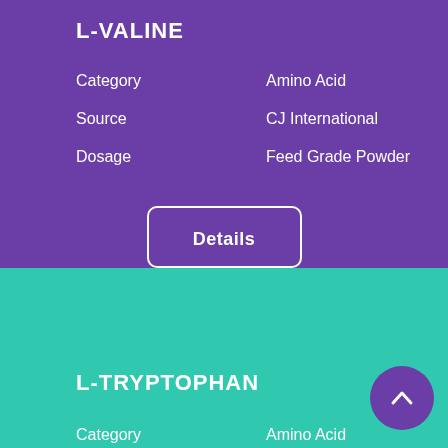L-VALINE
| Field | Value |
| --- | --- |
| Category | Amino Acid |
| Source | CJ International |
| Dosage | Feed Grade Powder |
Details
L-TRYPTOPHAN
| Field | Value |
| --- | --- |
| Category | Amino Acid |